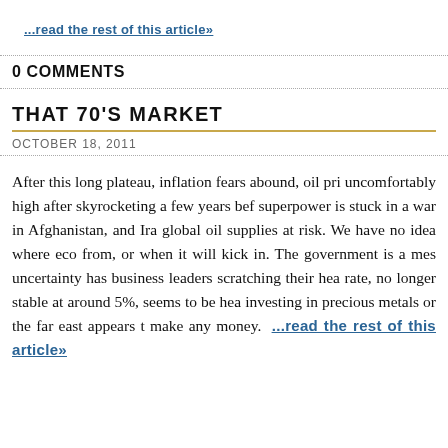...read the rest of this article»
0 COMMENTS
THAT 70'S MARKET
OCTOBER 18, 2011
After this long plateau, inflation fears abound, oil prices are uncomfortably high after skyrocketing a few years before, a superpower is stuck in a war in Afghanistan, and Iraq puts global oil supplies at risk. We have no idea where eco... from, or when it will kick in. The government is a mess, uncertainty has business leaders scratching their heads, the rate, no longer stable at around 5%, seems to be heading up, investing in precious metals or the far east appears to make any money. ...read the rest of this article»